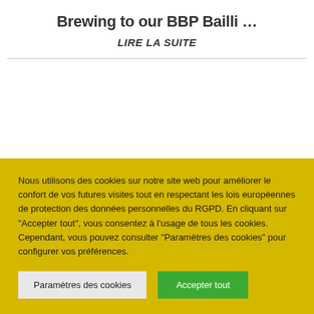Brewing to our BBP Bailli …
LIRE LA SUITE
Nous utilisons des cookies sur notre site web pour améliorer le confort de vos futures visites tout en respectant les lois européennes de protection des données personnelles du RGPD. En cliquant sur "Accepter tout", vous consentez à l'usage de tous les cookies. Cependant, vous pouvez consulter "Paramètres des cookies" pour configurer vos préférences.
Paramètres des cookies
Accepter tout